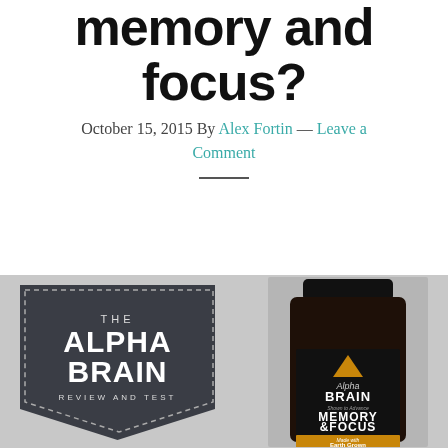memory and focus?
October 15, 2015 By Alex Fortin — Leave a Comment
[Figure (photo): Alpha Brain review and test badge logo on the left with a dark bottle of Alpha Brain supplement (Memory and Focus) on the right against a gray background.]